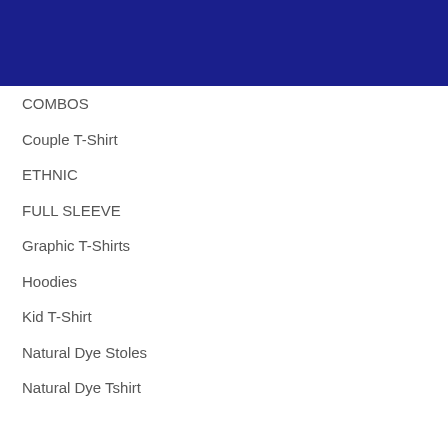[Figure (other): Dark navy blue rectangular banner header]
COMBOS
Couple T-Shirt
ETHNIC
FULL SLEEVE
Graphic T-Shirts
Hoodies
Kid T-Shirt
Natural Dye Stoles
Natural Dye Tshirt